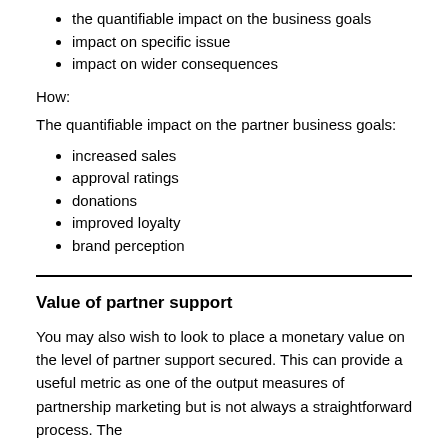the quantifiable impact on the business goals
impact on specific issue
impact on wider consequences
How:
The quantifiable impact on the partner business goals:
increased sales
approval ratings
donations
improved loyalty
brand perception
Value of partner support
You may also wish to look to place a monetary value on the level of partner support secured. This can provide a useful metric as one of the output measures of partnership marketing but is not always a straightforward process. The